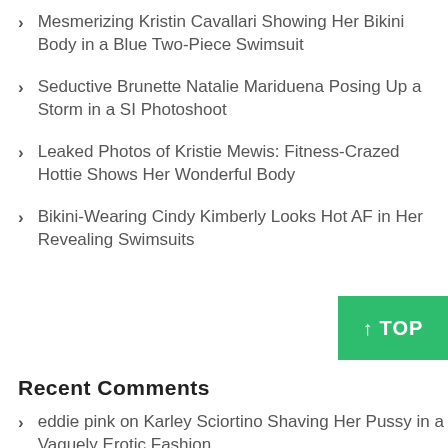Mesmerizing Kristin Cavallari Showing Her Bikini Body in a Blue Two-Piece Swimsuit
Seductive Brunette Natalie Mariduena Posing Up a Storm in a SI Photoshoot
Leaked Photos of Kristie Mewis: Fitness-Crazed Hottie Shows Her Wonderful Body
Bikini-Wearing Cindy Kimberly Looks Hot AF in Her Revealing Swimsuits
Recent Comments
eddie pink on Karley Sciortino Shaving Her Pussy in a Vaguely Erotic Fashion